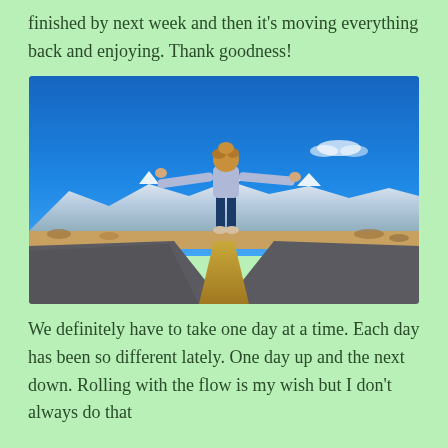finished by next week and then it's moving everything back and enjoying. Thank goodness!
[Figure (photo): A woman stands with arms outstretched on the center line of a long empty desert road, viewed from behind, wearing a lavender top and jeans, with a blue sky, distant snow-capped mountains, and arid landscape in the background.]
We definitely have to take one day at a time. Each day has been so different lately. One day up and the next down. Rolling with the flow is my wish but I don't always do that